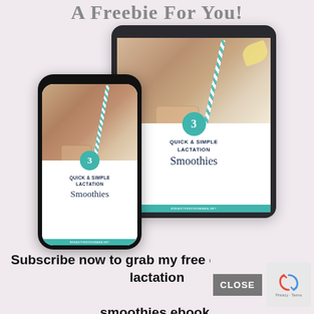A Freebie For You!
[Figure (illustration): Mockup of a tablet and phone showing the cover of '3 Quick & Simple Lactation Smoothies' ebook, with smoothie jars photo and teal/navy branding]
Subscribe now to grab my free quick & simple lactation smoothies ebook!